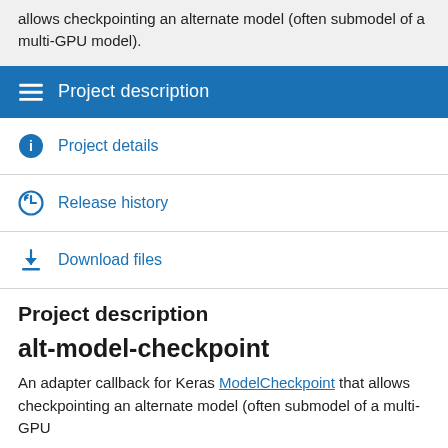allows checkpointing an alternate model (often submodel of a multi-GPU model).
Project description
Project details
Release history
Download files
Project description
alt-model-checkpoint
An adapter callback for Keras ModelCheckpoint that allows checkpointing an alternate model (often submodel of a multi-GPU